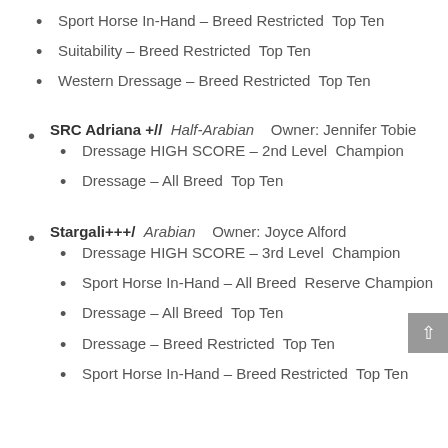Sport Horse In-Hand – Breed Restricted  Top Ten
Suitability – Breed Restricted  Top Ten
Western Dressage – Breed Restricted  Top Ten
SRC Adriana +//  Half-Arabian    Owner: Jennifer Tobie
Dressage HIGH SCORE – 2nd Level  Champion
Dressage – All Breed  Top Ten
Stargali+++/  Arabian    Owner: Joyce Alford
Dressage HIGH SCORE – 3rd Level  Champion
Sport Horse In-Hand – All Breed  Reserve Champion
Dressage – All Breed  Top Ten
Dressage – Breed Restricted  Top Ten
Sport Horse In-Hand – Breed Restricted  Top Ten